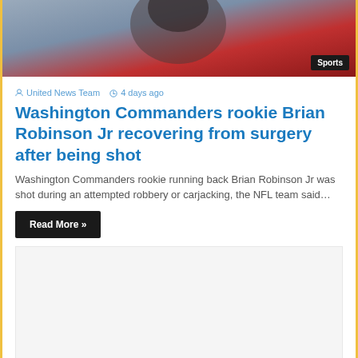[Figure (photo): Hero image of a Washington Commanders football player in red uniform, with a Sports badge overlay in the bottom right corner]
United News Team  4 days ago
Washington Commanders rookie Brian Robinson Jr recovering from surgery after being shot
Washington Commanders rookie running back Brian Robinson Jr was shot during an attempted robbery or carjacking, the NFL team said…
Read More »
[Figure (other): Advertisement placeholder area, light gray background]